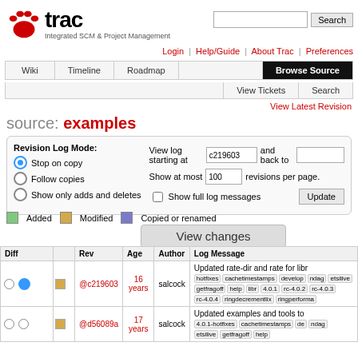[Figure (logo): Trac logo with red paw print and text 'trac' and tagline 'Integrated SCM & Project Management']
Login | Help/Guide | About Trac | Preferences
Wiki | Timeline | Roadmap | Browse Source | View Tickets | Search
View Latest Revision
source: examples
Revision Log Mode: Stop on copy, Follow copies, Show only adds and deletes. View log starting at c219603 and back to []. Show at most 100 revisions per page. Show full log messages. Update
Added   Modified   Copied or renamed
View changes
| Diff |  | Rev | Age | Author | Log Message |
| --- | --- | --- | --- | --- | --- |
|  |  | @c219603 | 16 years | salcock | Updated rate-dir and rate for libr... [tags: hotfixes, cachetimestamps, develop, ndag, etsilive, getfragoff, help, libr... 4.0.1, rc-4.0.2, rc-4.0.3, rc-4.0.4, ringdecrementlix, ringperforma...] |
|  |  | @d56089a | 17 years | salcock | Updated examples and tools to... [tags: 4.0.1-hotfixes, cachetimestamps, de... ndag, etsilive, getfragoff, help] |